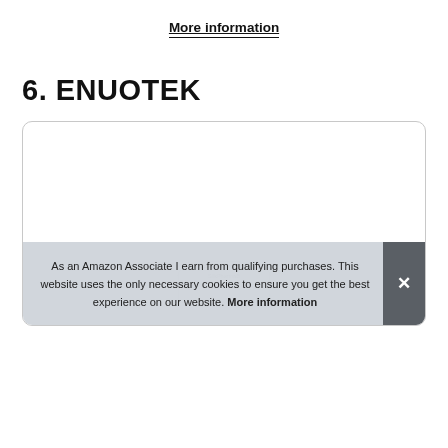More information
6. ENUOTEK
[Figure (photo): A white capsule-shaped Enuotek product (CE marked, labeled 'Enuotek CE SilkPharmB') partially visible inside a rounded-corner product box.]
As an Amazon Associate I earn from qualifying purchases. This website uses the only necessary cookies to ensure you get the best experience on our website. More information